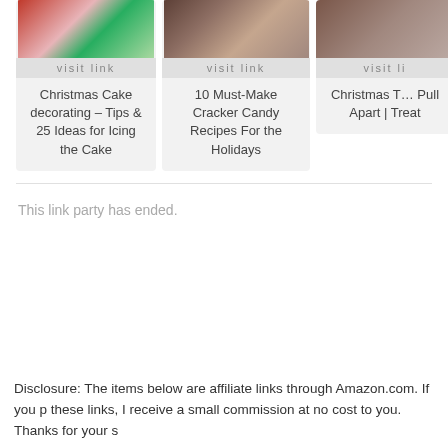[Figure (photo): Card 1: Christmas cake decorating photo with visit link button]
Christmas Cake decorating – Tips & 25 Ideas for Icing the Cake
[Figure (photo): Card 2: Cracker Candy Recipes photo with visit link button]
10 Must-Make Cracker Candy Recipes For the Holidays
[Figure (photo): Card 3: Christmas Tree Pull Apart photo with visit link button (partially cropped)]
Christmas Tree Pull Apart | Treat (cropped)
This link party has ended.
Disclosure: The items below are affiliate links through Amazon.com. If you p these links, I receive a small commission at no cost to you. Thanks for your s